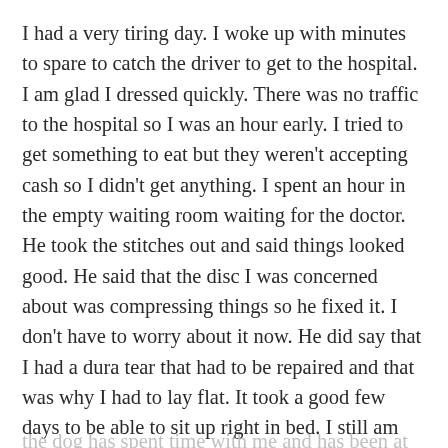I had a very tiring day. I woke up with minutes to spare to catch the driver to get to the hospital. I am glad I dressed quickly. There was no traffic to the hospital so I was an hour early. I tried to get something to eat but they weren't accepting cash so I didn't get anything. I spent an hour in the empty waiting room waiting for the doctor. He took the stitches out and said things looked good. He said that the disc I was concerned about was compressing things so he fixed it. I don't have to worry about it now. He did say that I had a dura tear that had to be repaired and that was why I had to lay flat. It took a good few days to be able to sit up right in bed. I still am not feeling well sitting up but I did okay on my way there. I had to walk all over because the place of pick up was at a different building than where my doctor's office was. I am now paying for it as my foot has flared up.